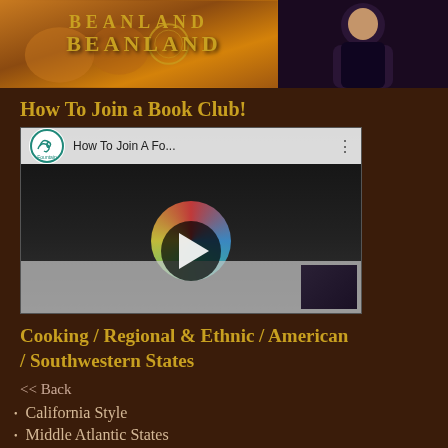[Figure (photo): Top banner with 'BEANLAND' text on left side with orange/brown background and figures, and a person on dark right side]
How To Join a Book Club!
[Figure (screenshot): YouTube video thumbnail showing 'How To Join A Fo...' with Fountain Bookstore logo and play button]
Cooking / Regional & Ethnic / American / Southwestern States
<< Back
California Style
Middle Atlantic States
Middle Western States
New England
Northwestern States